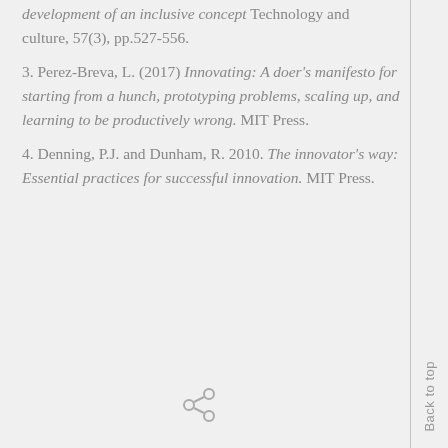development of an inclusive concept Technology and culture, 57(3), pp.527-556.
3. Perez-Breva, L. (2017) Innovating: A doer's manifesto for starting from a hunch, prototyping problems, scaling up, and learning to be productively wrong. MIT Press.
4. Denning, P.J. and Dunham, R. 2010. The innovator's way: Essential practices for successful innovation. MIT Press.